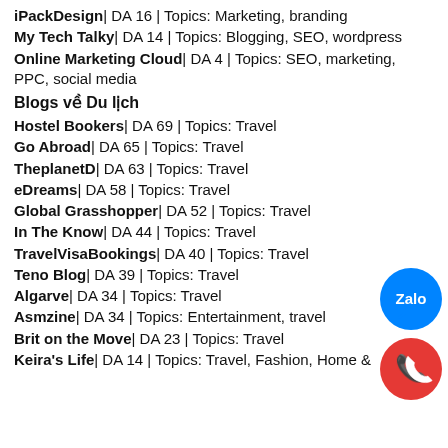iPackDesign| DA 16 | Topics: Marketing, branding
My Tech Talky| DA 14 | Topics: Blogging, SEO, wordpress
Online Marketing Cloud| DA 4 | Topics: SEO, marketing, PPC, social media
Blogs về Du lịch
Hostel Bookers| DA 69 | Topics: Travel
Go Abroad| DA 65 | Topics: Travel
TheplanetD| DA 63 | Topics: Travel
eDreams| DA 58 | Topics: Travel
Global Grasshopper| DA 52 | Topics: Travel
In The Know| DA 44 | Topics: Travel
TravelVisaBookings| DA 40 | Topics: Travel
Teno Blog| DA 39 | Topics: Travel
Algarve| DA 34 | Topics: Travel
Asmzine| DA 34 | Topics: Entertainment, travel
Brit on the Move| DA 23 | Topics: Travel
Keira's Life| DA 14 | Topics: Travel, Fashion, Home &